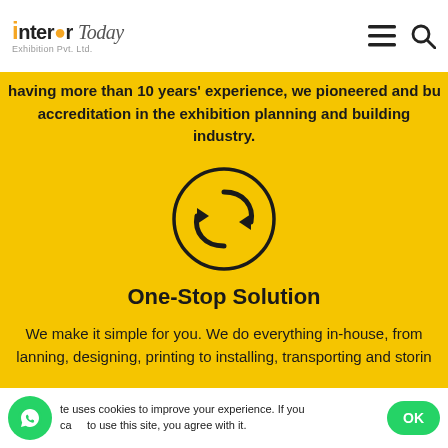Interior Today Exhibition Pvt. Ltd.
having more than 10 years' experience, we pioneered and built our accreditation in the exhibition planning and building industry.
[Figure (illustration): Circular arrows / refresh icon inside a black circle outline]
One-Stop Solution
We make it simple for you. We do everything in-house, from planning, designing, printing to installing, transporting and storing
[Figure (illustration): Partial circle icon at bottom of yellow section]
te uses cookies to improve your experience. If you ca to use this site, you agree with it.